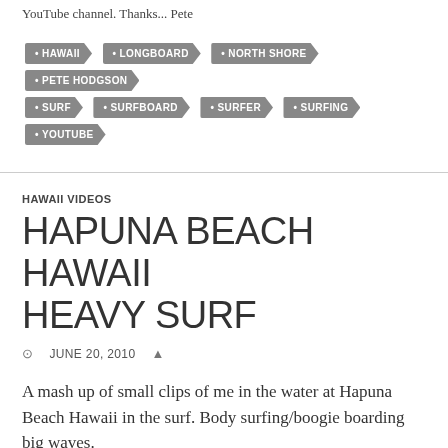YouTube channel. Thanks... Pete
HAWAII
LONGBOARD
NORTH SHORE
PETE HODGSON
SURF
SURFBOARD
SURFER
SURFING
YOUTUBE
HAWAII VIDEOS
HAPUNA BEACH HAWAII HEAVY SURF
JUNE 20, 2010
A mash up of small clips of me in the water at Hapuna Beach Hawaii in the surf. Body surfing/boogie boarding big waves.